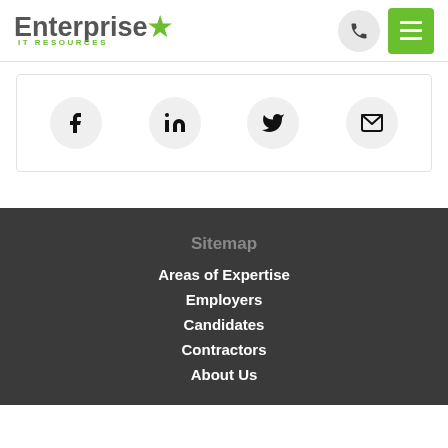[Figure (logo): Enterprise IT Resources logo with green star and green subtitle text]
[Figure (infographic): Phone icon in gray circle button and hamburger menu icon in green square button in header]
[Figure (infographic): Social media icons row: Facebook (f), LinkedIn (in), Twitter bird, Email envelope — each in a light gray circle]
Sitemap
Areas of Expertise
Employers
Candidates
Contractors
About Us